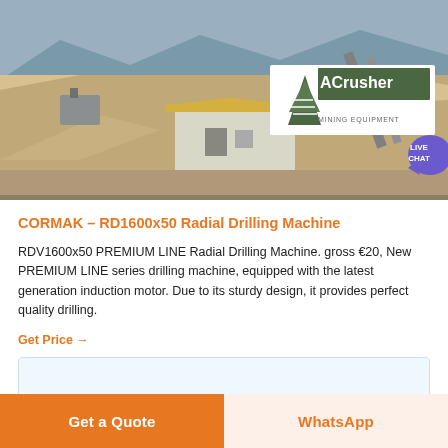[Figure (photo): Aerial view of a mining/quarry site with industrial equipment, gravel piles, and a small building with a corrugated roof. ACrusher Mining Equipment logo overlay in top right with LIVE CHAT bubble.]
CORMAK – RD1600x50 Radial Drilling Machine
RDV1600x50 PREMIUM LINE Radial Drilling Machine. gross €20, New PREMIUM LINE series drilling machine, equipped with the latest generation induction motor. Due to its sturdy design, it provides perfect quality drilling.
Get Price →
[Figure (other): Partial view of a second product card with light blue border]
Get a Quote
WhatsApp